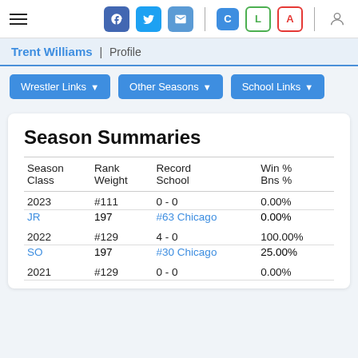Navigation bar with hamburger menu, social icons (Facebook, Twitter, Email), C/L/A badges, and user icon
Trent Williams | Profile
Wrestler Links ▼   Other Seasons ▼   School Links ▼
Season Summaries
| Season
Class | Rank
Weight | Record
School | Win %
Bns % |
| --- | --- | --- | --- |
| 2023 | #111 | 0 - 0 | 0.00% |
| JR | 197 | #63 Chicago | 0.00% |
| 2022 | #129 | 4 - 0 | 100.00% |
| SO | 197 | #30 Chicago | 25.00% |
| 2021 | #129 | 0 - 0 | 0.00% |